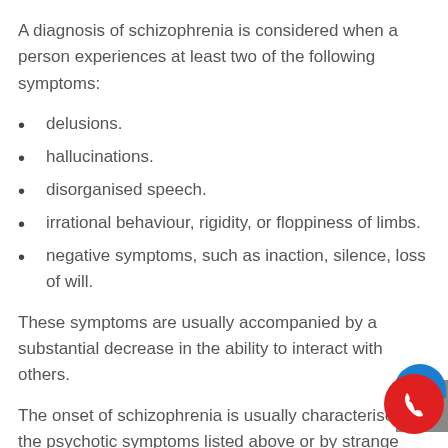A diagnosis of schizophrenia is considered when a person experiences at least two of the following symptoms:
delusions.
hallucinations.
disorganised speech.
irrational behaviour, rigidity, or floppiness of limbs.
negative symptoms, such as inaction, silence, loss of will.
These symptoms are usually accompanied by a substantial decrease in the ability to interact with others.
The onset of schizophrenia is usually characterised the psychotic symptoms listed above or by strange behaviour or the symptoms can be less in severity.